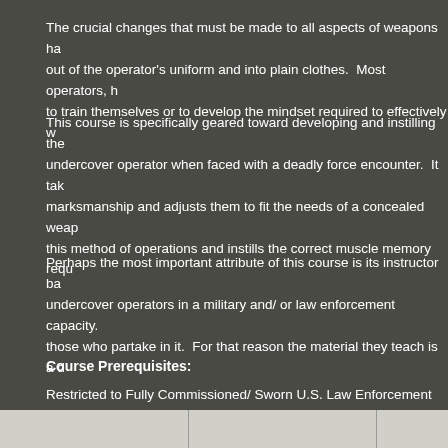The crucial changes that must be made to all aspects of weapons ha... out of the operator's uniform and into plain clothes.  Most operators, h... to train themselves or to develop the mindset required to effectively w...
This course is specifically geared toward developing and instilling the... undercover operator when faced with a deadly force encounter.  It tak... marksmanship and adjusts them to fit the needs of a concealed weap... this method of operations and instills the correct muscle memory requ...
Perhaps the most important attribute of this course is its instructor ba... undercover operators in a military and/ or law enforcement capacity.  ... those who partake in it.  For that reason the material they teach is a d...
Course Prerequisites:
Restricted to Fully Commissioned/ Sworn U.S. Law Enforcement Offic...